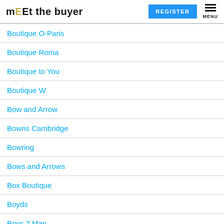mEEt the buyer | REGISTER | MENU
Boutique O-Paris
Boutique Roma
Boutique to You
Boutique W
Bow and Arrow
Bowns Cambridge
Bowring
Bows and Arrows
Box Boutique
Boyds
Boys 2 Man
Brainy Days